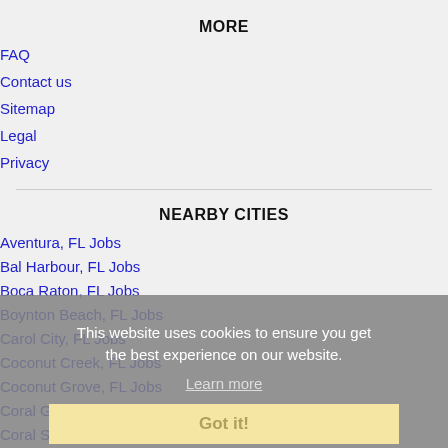MORE
FAQ
Contact us
Sitemap
Legal
Privacy
NEARBY CITIES
Aventura, FL Jobs
Bal Harbour, FL Jobs
Boca Raton, FL Jobs
Boynton Beach, FL Jobs
Carol City, FL Jobs
Coconut Creek, FL Jobs
Coconut Grove, FL Jobs
Coral Gables, FL Jobs
Coral Springs, FL Jobs
This website uses cookies to ensure you get the best experience on our website. Learn more Got it!